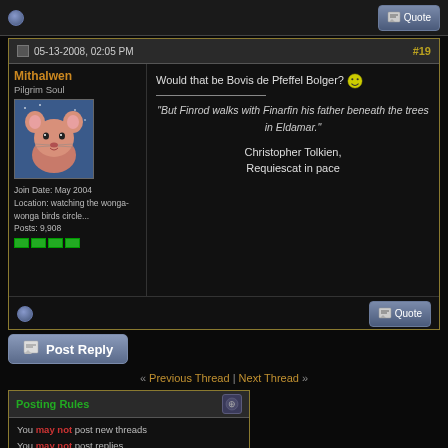[Figure (screenshot): Top bar with small circle icon and Quote button]
05-13-2008, 02:05 PM  #19
Mithalwen
Pilgrim Soul
[Figure (illustration): Avatar: cartoon pink mouse character]
Join Date: May 2004
Location: watching the wonga-wonga birds circle...
Posts: 9,908
Would that be Bovis de Pfeffel Bolger? :)

"But Finrod walks with Finarfin his father beneath the trees in Eldamar."

Christopher Tolkien, Requiescat in pace
[Figure (screenshot): Quote button in post footer]
[Figure (screenshot): Post Reply button]
« Previous Thread | Next Thread »
Posting Rules
You may not post new threads
You may not post replies
You may not post attachments
You may not edit your posts
BB code is On